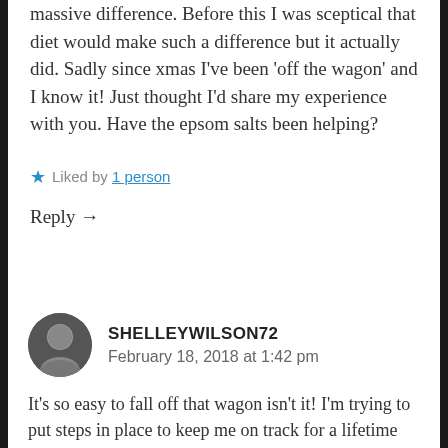massive difference. Before this I was sceptical that diet would make such a difference but it actually did. Sadly since xmas I've been 'off the wagon' and I know it! Just thought I'd share my experience with you. Have the epsom salts been helping?
★ Liked by 1 person
Reply →
SHELLEYWILSON72
February 18, 2018 at 1:42 pm
It's so easy to fall off that wagon isn't it! I'm trying to put steps in place to keep me on track for a lifetime change not just a season (which is my usual!). The Epsom salt baths are lovely although I'm suffering with awful nausea at the